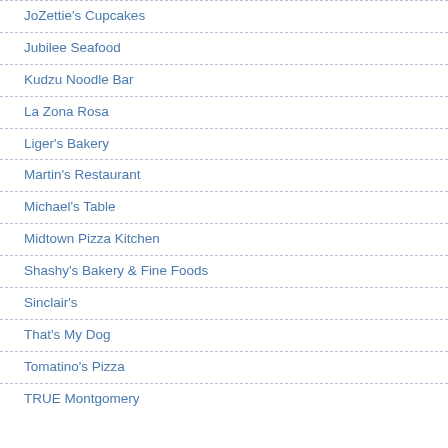JoZettie's Cupcakes
Jubilee Seafood
Kudzu Noodle Bar
La Zona Rosa
Liger's Bakery
Martin's Restaurant
Michael's Table
Midtown Pizza Kitchen
Shashy's Bakery & Fine Foods
Sinclair's
That's My Dog
Tomatino's Pizza
TRUE Montgomery